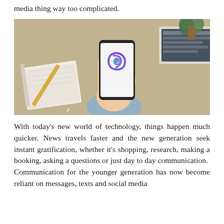media thing way too complicated.
[Figure (photo): A hand holding a smartphone displaying a purple/violet app logo (stylized letter B with a loop) against a blurred desk background with a notebook, pencil, and laptop keyboard.]
With today's new world of technology, things happen much quicker. News travels faster and the new generation seek instant gratification, whether it's shopping, research, making a booking, asking a questions or just day to day communication.
Communication for the younger generation has now become reliant on messages, texts and social media